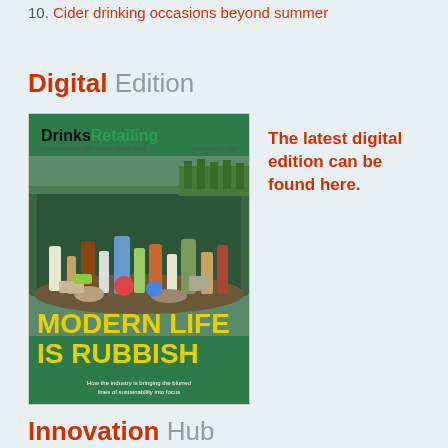10. Cider drinking occasions beyond summer
Digital Edition
[Figure (photo): Magazine cover of Drinks Retailing showing a truck filled with rubbish/recyclables with headline 'MODERN LIFE IS RUBBISH' and subtext 'How the industry is bringing the blurred lines of sustainability into focus']
The latest digital edition can be found here.
Innovation Hub